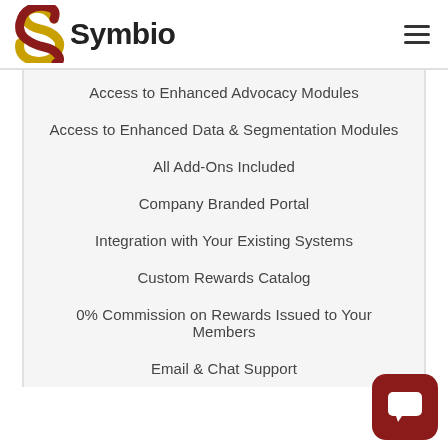[Figure (logo): Symbio logo with stylized S icon in red and gold, and bold text 'Symbio']
Access to Enhanced Advocacy Modules
Access to Enhanced Data & Segmentation Modules
All Add-Ons Included
Company Branded Portal
Integration with Your Existing Systems
Custom Rewards Catalog
0% Commission on Rewards Issued to Your Members
Email & Chat Support